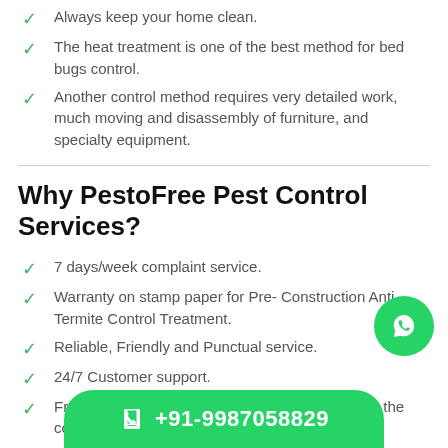Always keep your home clean.
The heat treatment is one of the best method for bed bugs control.
Another control method requires very detailed work, much moving and disassembly of furniture, and specialty equipment.
Why PestoFree Pest Control Services?
7 days/week complaint service.
Warranty on stamp paper for Pre- Construction Anti Termite Control Treatment.
Reliable, Friendly and Punctual service.
24/7 Customer support.
Free spot treatment if an treatment occurs during the contract.
Providing Pest Co...
Highly trained and Certified technicians